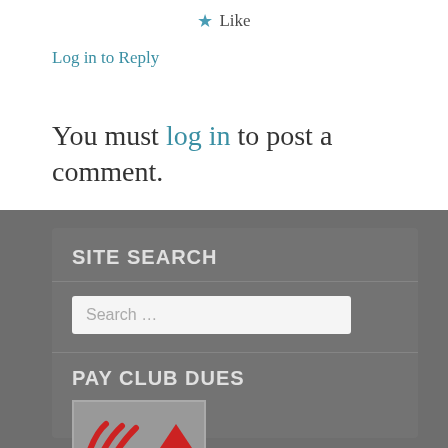★ Like
Log in to Reply
You must log in to post a comment.
SITE SEARCH
Search ...
PAY CLUB DUES
[Figure (logo): Red logo/icon with curved lines and a triangle shape, partially visible]